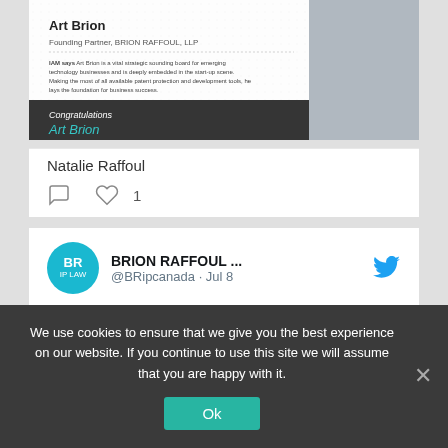[Figure (screenshot): LinkedIn post card showing Art Brion, Founding Partner at BRION RAFFOUL LLP, with a photo of a man in a suit and tie. A dark overlay at bottom reads 'Congratulations Art Brion' in teal italic text.]
Natalie Raffoul
[Figure (infographic): Comment and heart/like icons. Heart icon shows count of 1.]
[Figure (screenshot): Twitter post by BRION RAFFOUL ... @BRipcanada · Jul 8. Tweet text: BRION RAFFOUL LLP congratulates @RaffoulNatalie for being recognized as one of the World's Leading #Patent Professionals by]
BRION RAFFOUL LLP congratulates @RaffoulNatalie for being recognized as one of the World's Leading #Patent Professionals by
We use cookies to ensure that we give you the best experience on our website. If you continue to use this site we will assume that you are happy with it.